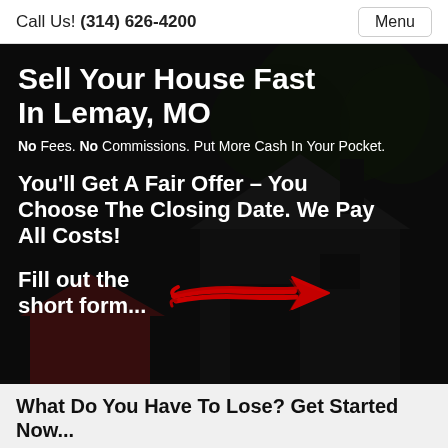Call Us! (314) 626-4200
Sell Your House Fast In Lemay, MO
No Fees. No Commissions. Put More Cash In Your Pocket.
You'll Get A Fair Offer – You Choose The Closing Date. We Pay All Costs!
Fill out the short form...
[Figure (illustration): Red hand-drawn arrow pointing right, overlaid on a dark background with a house image.]
What Do You Have To Lose? Get Started Now...